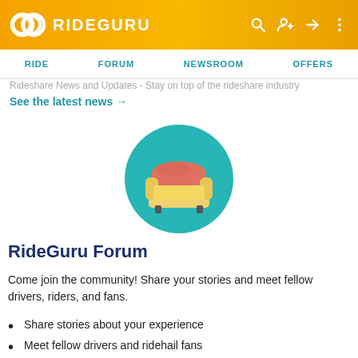RIDEGURU
Rideshare News and Updates - Stay on top of the rideshare industry
See the latest news →
[Figure (illustration): Teal circle with a yellow and salmon/red sofa/couch icon in the center, representing the RideGuru Forum]
RideGuru Forum
Come join the community! Share your stories and meet fellow drivers, riders, and fans.
Share stories about your experience
Meet fellow drivers and ridehail fans